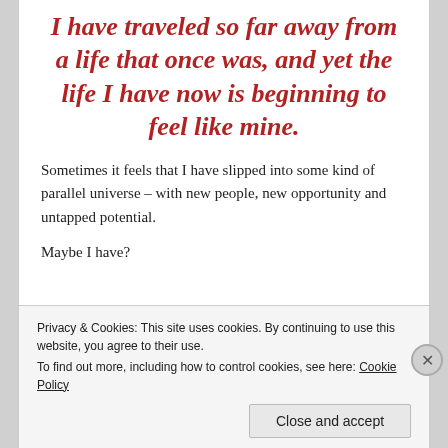I have traveled so far away from a life that once was, and yet the life I have now is beginning to feel like mine.
Sometimes it feels that I have slipped into some kind of parallel universe – with new people, new opportunity and untapped potential.
Maybe I have?
Privacy & Cookies: This site uses cookies. By continuing to use this website, you agree to their use. To find out more, including how to control cookies, see here: Cookie Policy